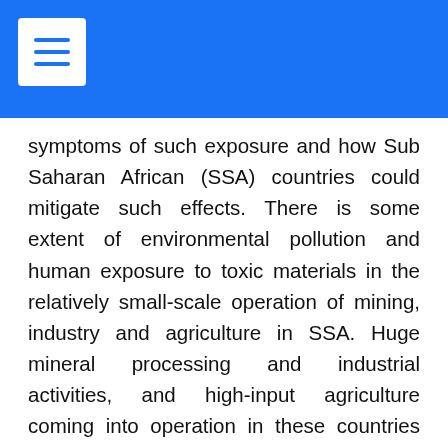symptoms of such exposure and how Sub Saharan African (SSA) countries could mitigate such effects. There is some extent of environmental pollution and human exposure to toxic materials in the relatively small-scale operation of mining, industry and agriculture in SSA. Huge mineral processing and industrial activities, and high-input agriculture coming into operation in these countries result in exacerbated pollution, with increased possibilities of human exposure and adverse health effects due to exposure to toxic heavy metals and synthetic pesticides. Mining and processing of radioactive minerals also expose the environment and humans to radiation. The SSA countries, newly embarking on all these activities, are presently least equipped to deal